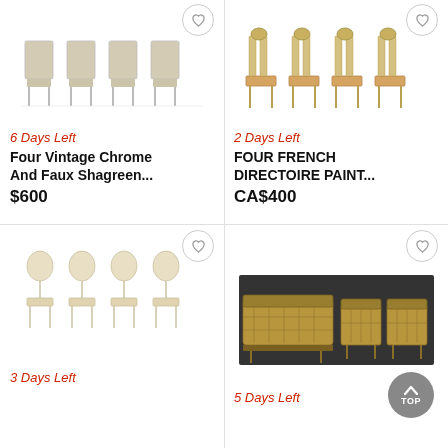[Figure (photo): Four vintage chrome and faux shagreen dining chairs with beige upholstery, shown in a row]
6 Days Left
Four Vintage Chrome And Faux Shagreen...
$600
[Figure (photo): Four French Directoire painted chairs with orange/gold upholstery and decorative backs, shown in a row]
2 Days Left
FOUR FRENCH DIRECTOIRE PAINT...
CA$400
[Figure (photo): Four vintage painted balloon-back dining chairs with cream/beige finish, shown in a row]
3 Days Left
[Figure (photo): French salon furniture set with settee and chairs in golden cane upholstery on dark background]
5 Days Left